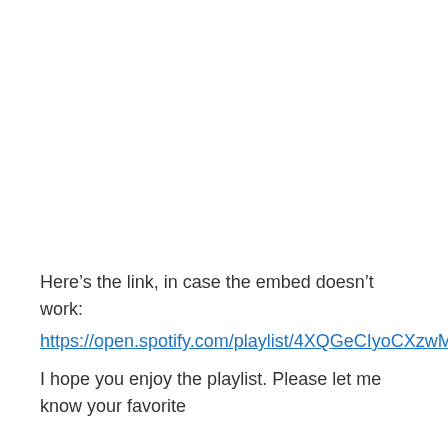Here’s the link, in case the embed doesn’t work:
https://open.spotify.com/playlist/4XQGeCIyoCXzwMHvAwJ4D
I hope you enjoy the playlist. Please let me know your favorite